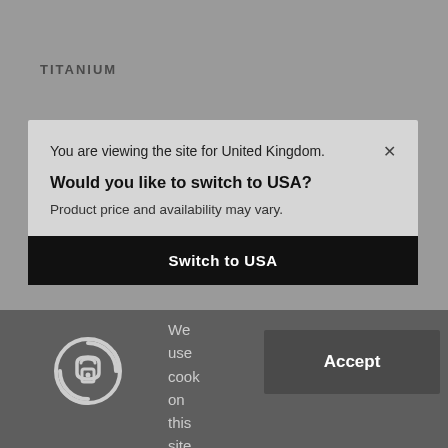TITANIUM
You are viewing the site for United Kingdom.
Would you like to switch to USA?
Product price and availability may vary.
Switch to USA
[Figure (illustration): Cookie consent shield icon with lock symbol]
We use cook on this site
Accept